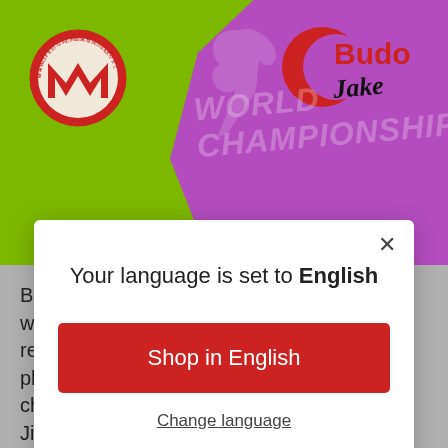[Figure (screenshot): Website header banner with green background, purple blob shape, Mamute logo on left, Budo Jake logo on right, world championship watermark text in center]
[Figure (screenshot): Modal dialog popup with white background, X close button, text 'Your language is set to English', red 'Shop in English' button, and 'Change language' underlined link]
Brazil. From having to learn how to talk and walk again, he persevered and is fought to recover most of what he lost in terms of physical and mental endurance. During our chat I thought how great it was that he had Jiu-jitsu in...